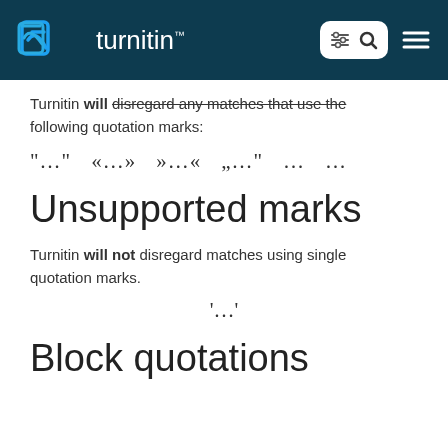turnitin
Turnitin will disregard any matches that use the following quotation marks:
[Figure (other): Row of supported quotation mark symbols: "..."  «...»  »...«  „..."  ...  ...]
Unsupported marks
Turnitin will not disregard matches using single quotation marks.
[Figure (other): Single quotation mark symbol: '...']
Block quotations